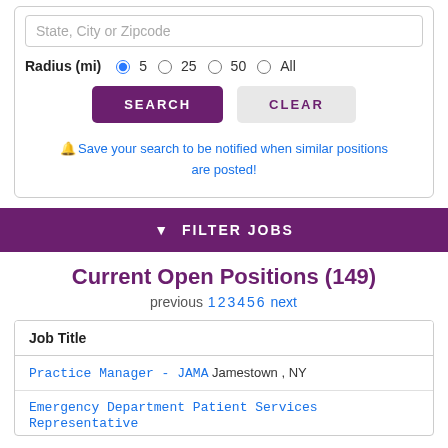State, City or Zipcode
Radius (mi) 5 25 50 All
SEARCH
CLEAR
Save your search to be notified when similar positions are posted!
FILTER JOBS
Current Open Positions (149)
previous 1 2 3 4 5 6 next
| Job Title |
| --- |
| Practice Manager - JAMA  Jamestown , NY |
| Emergency Department Patient Services Representative |
Practice Manager - JAMA Jamestown , NY
Emergency Department Patient Services Representative